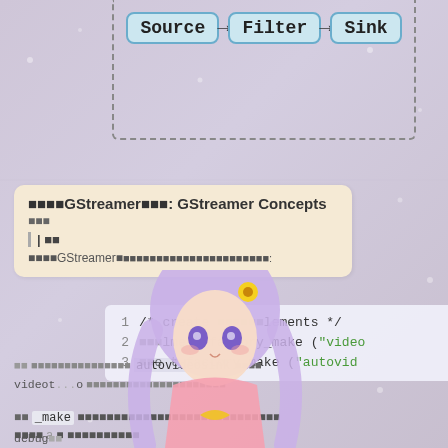[Figure (flowchart): Pipeline diagram showing Source → Filter → Sink nodes connected by arrows, inside a dashed border box]
GStreamer概念: GStreamer Concepts
概念
| 简介
以下GStreamer基本概念将会被介绍:
[Figure (screenshot): Code snippet showing 3 lines of C code creating GStreamer elements, with line numbers 1-3. Line 2: gst_element_factory_make ("video..."), Line 3: gst_element_factory_make ("autovid...")]
其中  _make  函数用于创建元素，参数为元素工厂名称
元素名称可以 用于 调试输出
视频 输出 使用 的 sink 是 autovideosink 元素
videot...source元素用于从文件中读取视频数据
debug...